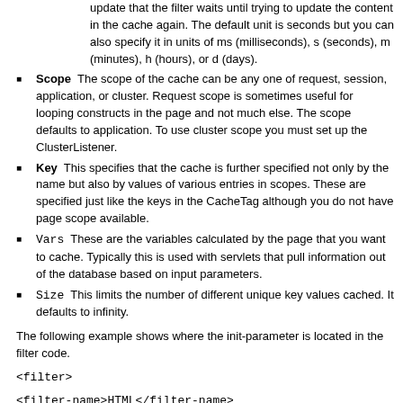update that the filter waits until trying to update the content in the cache again. The default unit is seconds but you can also specify it in units of ms (milliseconds), s (seconds), m (minutes), h (hours), or d (days).
Scope  The scope of the cache can be any one of request, session, application, or cluster. Request scope is sometimes useful for looping constructs in the page and not much else. The scope defaults to application. To use cluster scope you must set up the ClusterListener.
Key  This specifies that the cache is further specified not only by the name but also by values of various entries in scopes. These are specified just like the keys in the CacheTag although you do not have page scope available.
Vars  These are the variables calculated by the page that you want to cache. Typically this is used with servlets that pull information out of the database based on input parameters.
Size  This limits the number of different unique key values cached. It defaults to infinity.
The following example shows where the init-parameter is located in the filter code.
<filter>
<filter-name>HTML</filter-name>
<filter-class>weblogic.cache.filter.CacheFilter</filter-class>
<init-param>